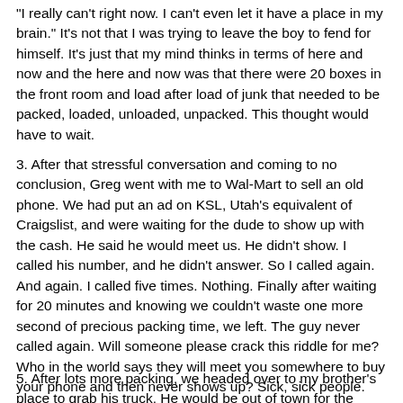"I really can't right now.  I can't even let it have a place in my brain."  It's not that I was trying to leave the boy to fend for himself.  It's just that my mind thinks in terms of here and now and the here and now was that there were 20 boxes in the front room and load after load of junk that needed to be packed, loaded, unloaded, unpacked.  This thought would have to wait.
3.  After that stressful conversation and coming to no conclusion, Greg went with me to Wal-Mart to sell an old phone.  We had put an ad on KSL, Utah's equivalent of Craigslist, and were waiting for the dude to show up with the cash.  He said he would meet us.  He didn't show.  I called his number, and he didn't answer.  So I called again.  And again.  I called five times.  Nothing.  Finally after waiting for 20 minutes and knowing we couldn't waste one more second of precious packing time, we left.  The guy never called again.  Will someone please crack this riddle for me?  Who in the world says they will meet you somewhere to buy your phone and then never shows up?  Sick, sick people.
5.  After lots more packing, we headed over to my brother's place to grab his truck.  He would be out of town for the